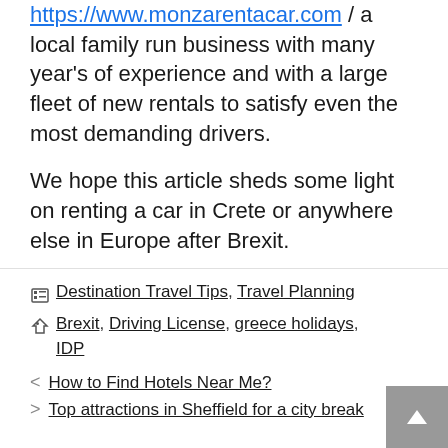https://www.monzarentacar.com / a local family run business with many year's of experience and with a large fleet of new rentals to satisfy even the most demanding drivers.
We hope this article sheds some light on renting a car in Crete or anywhere else in Europe after Brexit.
Categories: Destination Travel Tips, Travel Planning
Tags: Brexit, Driving License, greece holidays, IDP
< How to Find Hotels Near Me?
> Top attractions in Sheffield for a city break